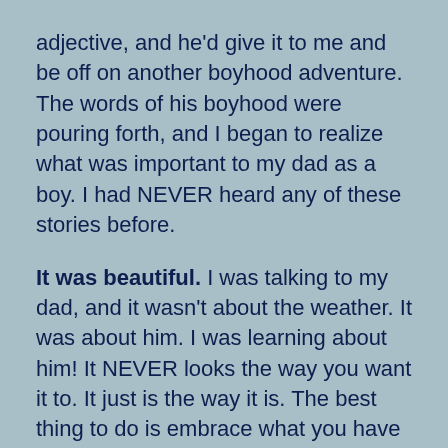adjective, and he'd give it to me and be off on another boyhood adventure.  The words of his boyhood were pouring forth, and I began to realize what was important to my dad as a boy.  I had NEVER heard any of these stories before.
It was beautiful.  I was talking to my dad, and it wasn't about the weather.  It was about him.  I was learning about him!  It NEVER looks the way you want it to.  It just is the way it is.  The best thing to do is embrace what you have and enjoy the journey.  We wrote a poem!  I will turn it in later because it deserves a little polishing, and because I know dad would like it that way.  He looks forward to my calls now.  He is creating, and he is loving it.  Where there was silence and